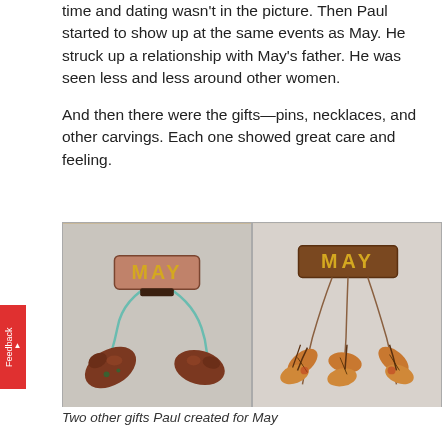time and dating wasn't in the picture. Then Paul started to show up at the same events as May. He struck up a relationship with May's father. He was seen less and less around other women.

And then there were the gifts—pins, necklaces, and other carvings. Each one showed great care and feeling.
[Figure (photo): Two photos side by side showing carved wooden gifts labeled 'MAY'. Left photo shows a name tag reading 'MAY' with two carved dark wooden birds or fish hanging below on a teal string. Right photo shows another 'MAY' name sign with carved wooden leaf or floral decorations hanging below.]
Two other gifts Paul created for May